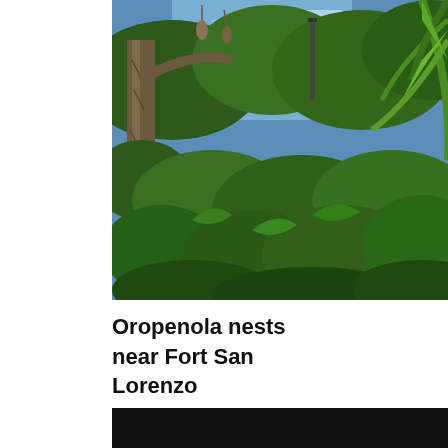[Figure (photo): Tropical forest canopy photograph showing tall trees with hanging oropenola nests, lush green vegetation, palm fronds on the right, and a blue sky visible through the canopy. Located near Fort San Lorenzo.]
Oropenola nests near Fort San Lorenzo